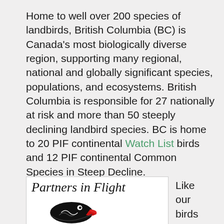Home to well over 200 species of landbirds, British Columbia (BC) is Canada's most biologically diverse region, supporting many regional, national and globally significant species, populations, and ecosystems. British Columbia is responsible for 27 nationally at risk and more than 50 steeply declining landbird species. BC is home to 20 PIF continental Watch List birds and 12 PIF continental Common Species in Steep Decline.
[Figure (logo): Partners in Flight logo with stylized bird head illustration in black and red]
Like our birds and